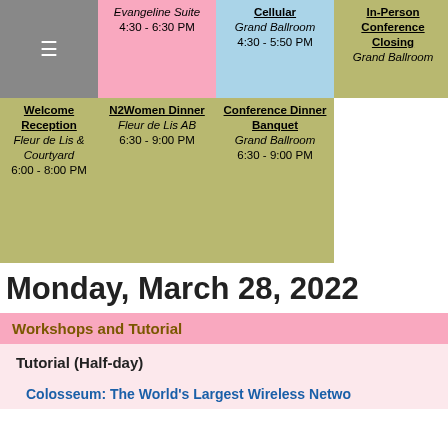| [menu] | Evangeline Suite
4:30 - 6:30 PM | Cellular
Grand Ballroom
4:30 - 5:50 PM | In-Person Conference Closing
Grand Ballroom |  |
| Welcome Reception
Fleur de Lis &
Courtyard
6:00 - 8:00 PM | N2Women Dinner
Fleur de Lis AB
6:30 - 9:00 PM | Conference Dinner Banquet
Grand Ballroom
6:30 - 9:00 PM |  |  |
Monday, March 28, 2022
Workshops and Tutorial
Tutorial (Half-day)
Colosseum: The World's Largest Wireless Netwo